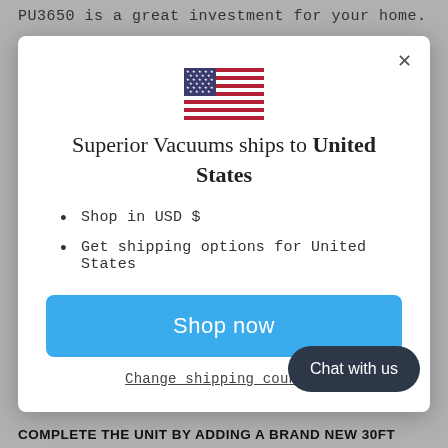PU3650 is a great investment for your home.
[Figure (screenshot): Modal dialog with US flag, shipping information for United States, bullet points for USD and shipping options, a blue Shop now button, a Change shipping country link, and a dark Chat with us button overlay.]
COMPLETE THE UNIT BY ADDING A BRAND NEW 30FT